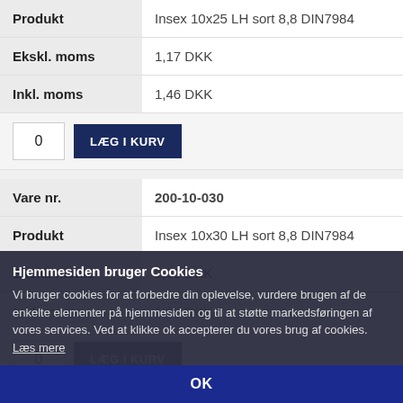| Label | Value |
| --- | --- |
| Produkt | Insex 10x25 LH sort 8,8 DIN7984 |
| Ekskl. moms | 1,17 DKK |
| Inkl. moms | 1,46 DKK |
0  LÆG I KURV
| Label | Value |
| --- | --- |
| Vare nr. | 200-10-030 |
| Produkt | Insex 10x30 LH sort 8,8 DIN7984 |
| Ekskl. moms | 1,03 DKK |
| Inkl. moms | 1,29 DKK |
0  LÆG I KURV
Vare nr.  200-10-040
Hjemmesiden bruger Cookies
Vi bruger cookies for at forbedre din oplevelse, vurdere brugen af de enkelte elementer på hjemmesiden og til at støtte markedsføringen af vores services. Ved at klikke ok accepterer du vores brug af cookies. Læs mere
OK